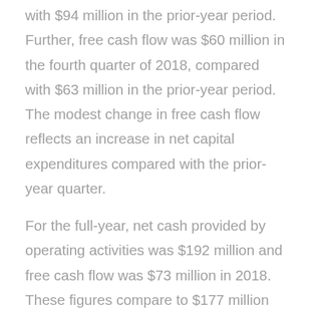with $94 million in the prior-year period. Further, free cash flow was $60 million in the fourth quarter of 2018, compared with $63 million in the prior-year period. The modest change in free cash flow reflects an increase in net capital expenditures compared with the prior-year quarter.
For the full-year, net cash provided by operating activities was $192 million and free cash flow was $73 million in 2018. These figures compare to $177 million and $93 million respectively in 2017. The full-year change in free cash flow reflects incremental growth capital spending mainly in Metals &